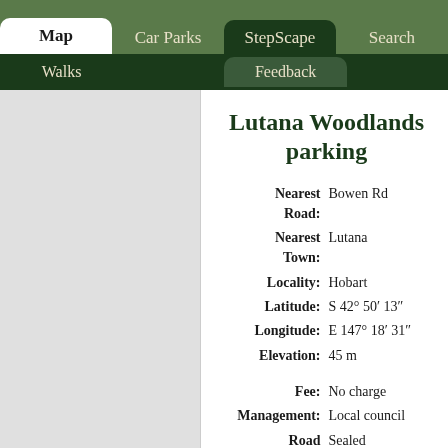Map | Car Parks | StepScape | Search | Walks | Feedback
[Figure (map): Map panel showing grey area representing a map view]
Lutana Woodlands parking
| Field | Value |
| --- | --- |
| Nearest Road: | Bowen Rd |
| Nearest Town: | Lutana |
| Locality: | Hobart |
| Latitude: | S 42° 50′ 13″ |
| Longitude: | E 147° 18′ 31″ |
| Elevation: | 45 m |
| Fee: | No charge |
| Management: | Local council |
| Road Surface: | Sealed |
| Car Park: | Sealed |
| Water: | Mains tap |
| Toilets: | None |